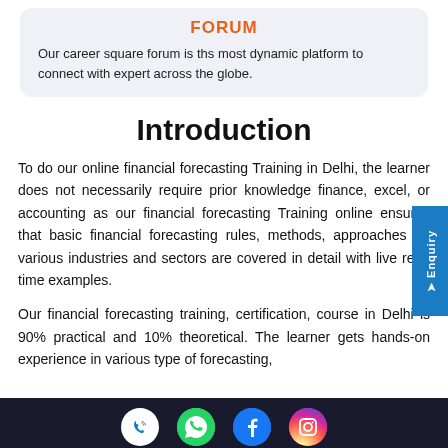FORUM
Our career square forum is ths most dynamic platform to connect with expert across the globe.
Introduction
To do our online financial forecasting Training in Delhi, the learner does not necessarily require prior knowledge finance, excel, or accounting as our financial forecasting Training online ensures that basic financial forecasting rules, methods, approaches on various industries and sectors are covered in detail with live real-time examples.
Our financial forecasting training, certification, course in Delhi is 90% practical and 10% theoretical. The learner gets hands-on experience in various type of forecasting,
[Figure (illustration): Enquiry tab on right side in blue]
Footer with phone, WhatsApp, Facebook, Instagram icons